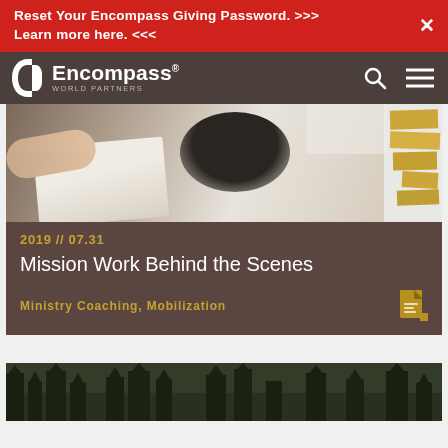Reset Your Encompass Giving Password. >>> Learn more here. <<<
[Figure (screenshot): Encompass World Partners logo with navigation icons (search and menu) on a dark brown background]
[Figure (photo): Person studying with open book and sticky notes on a wall]
2019 // 07.31
Mission Work Behind the Scenes
Ministry Coaching, Mobilization
[Figure (photo): Forest silhouette image at bottom of page]